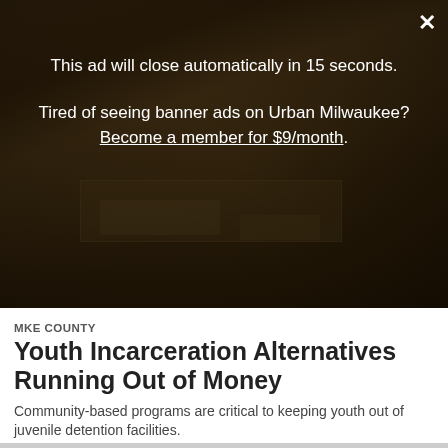[Figure (photo): Aerial photograph of what appears to be a juvenile detention facility or institutional campus, shown in dark amber/brown tones with buildings and grounds visible from above.]
This ad will close automatically in 15 seconds.
Tired of seeing banner ads on Urban Milwaukee? Become a member for $9/month.
MKE COUNTY
Youth Incarceration Alternatives Running Out of Money
Community-based programs are critical to keeping youth out of juvenile detention facilities.
May 18th, 2022 by Graham Kilmer